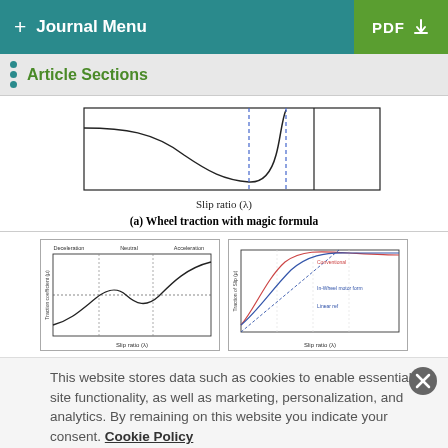+ Journal Menu   PDF ↓
Article Sections
[Figure (continuous-plot): Wheel traction (traction coefficient) vs Slip ratio (λ) curve using magic formula — shows a curve dipping to a minimum then rising steeply, with two dashed vertical lines marking characteristic slip ratios. Top portion of figure (a).]
(a) Wheel traction with magic formula
[Figure (continuous-plot): Left sub-figure: Traction coefficient vs Slip ratio (λ) showing Deceleration, Neutral, Acceleration regions with S-shaped curve crossing zero. Right sub-figure: Traction of Slip ratio (λ) with two curves labeled 'Conventional' and 'In-Wheel motor form' and 'Linear ref', showing comparison of wheel traction behaviors.]
This website stores data such as cookies to enable essential site functionality, as well as marketing, personalization, and analytics. By remaining on this website you indicate your consent. Cookie Policy